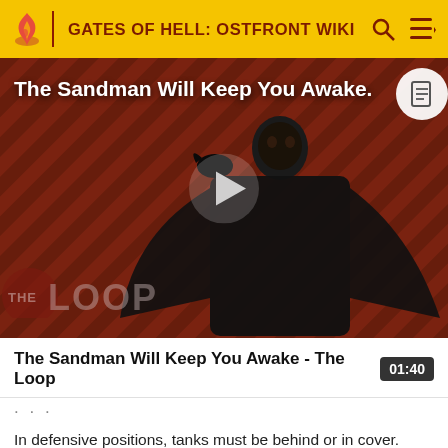GATES OF HELL: OSTFRONT WIKI
[Figure (screenshot): Video thumbnail for 'The Sandman Will Keep You Awake - The Loop' showing a dark figure in black against a red diagonal striped background, with a play button in the center and THE LOOP watermark at the bottom left.]
The Sandman Will Keep You Awake - The Loop   01:40
In defensive positions, tanks must be behind or in cover. Whether this be a house, a small hill, or a fence, you MUST